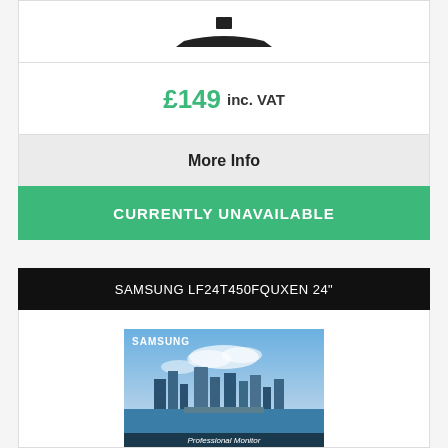[Figure (illustration): Partial view of a monitor silhouette (stand and base visible) at the top of a product card]
£149 inc. VAT
More Info
CURRENTLY UNAVAILABLE
SAMSUNG LF24T450FQUXEN 24"
[Figure (photo): Samsung LF24T450FQUXEN 24" Professional Monitor product photo showing a cityscape on screen with SAMSUNG branding and 'Professional Monitor' text at bottom]